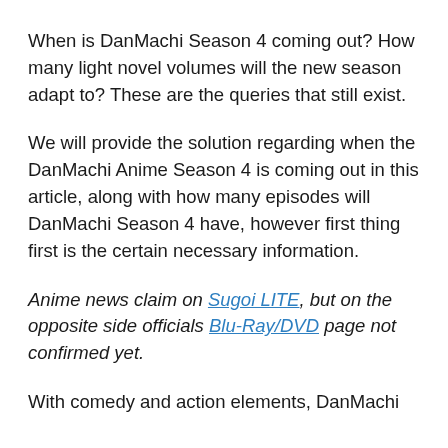When is DanMachi Season 4 coming out? How many light novel volumes will the new season adapt to? These are the queries that still exist.
We will provide the solution regarding when the DanMachi Anime Season 4 is coming out in this article, along with how many episodes will DanMachi Season 4 have, however first thing first is the certain necessary information.
Anime news claim on Sugoi LITE, but on the opposite side officials Blu-Ray/DVD page not confirmed yet.
With comedy and action elements, DanMachi